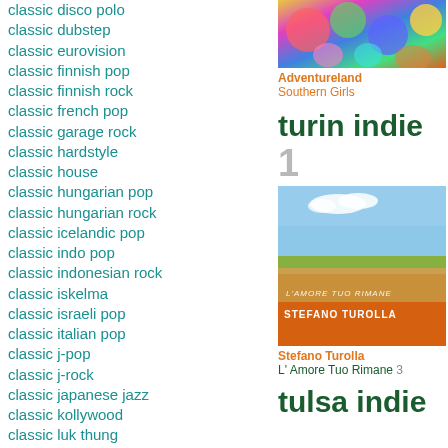classic disco polo
classic dubstep
classic eurovision
classic finnish pop
classic finnish rock
classic french pop
classic garage rock
classic hardstyle
classic house
classic hungarian pop
classic hungarian rock
classic icelandic pop
classic indo pop
classic indonesian rock
classic iskelma
classic israeli pop
classic italian pop
classic j-pop
classic j-rock
classic japanese jazz
classic kollywood
classic luk thung
classic malaysian pop
classic mandopop
classic nepali pop
[Figure (illustration): Colorful album art with rainbow/pastel colors for Adventureland - Southern Girls]
Adventureland
Southern Girls
turin indie
1
[Figure (photo): Album cover for Stefano Turolla - L'Amore Tuo Rimane, showing a landscape with sky and farmland, orange band at bottom with text STEFANO TUROLLA and L'AMORE TUO RIMANE]
Stefano Turolla
L' Amore Tuo Rimane 3
tulsa indie